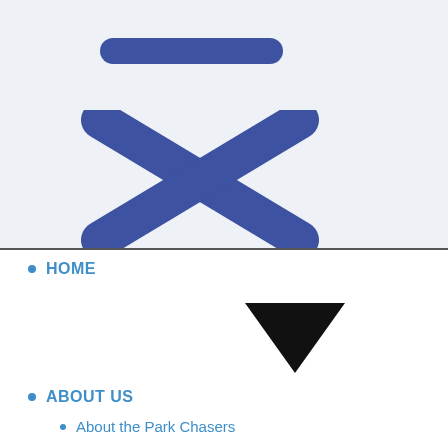[Figure (illustration): A dark blue horizontal pill/minus bar shape at the top of a light grey-blue panel, representing a mobile menu drag handle or minimize icon.]
[Figure (illustration): A large dark blue X (close/cancel) icon on a light grey-blue background, indicating a close button for a mobile navigation menu.]
HOME
[Figure (illustration): A solid black downward-pointing triangle (dropdown arrow) indicating an expandable menu item.]
ABOUT US
About the Park Chasers